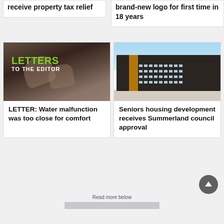receive property tax relief
brand-new logo for first time in 18 years
[Figure (photo): Hands typing on keyboard with 'LETTERS TO THE EDITOR' overlay text in green and white]
LETTER: Water malfunction was too close for comfort
[Figure (photo): Rendering of a seniors housing development building, modern multi-story with dark facade]
Seniors housing development receives Summerland council approval
Read more below